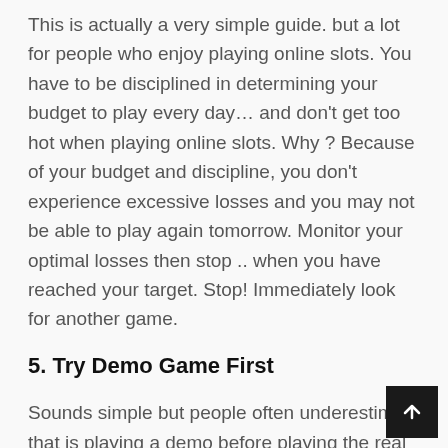This is actually a very simple guide. but a lot for people who enjoy playing online slots. You have to be disciplined in determining your budget to play every day... and don't get too hot when playing online slots. Why ? Because of your budget and discipline, you don't experience excessive losses and you may not be able to play again tomorrow. Monitor your optimal losses then stop .. when you have reached your target. Stop! Immediately look for another game.
5. Try Demo Game First
Sounds simple but people often underestimate that is playing a demo before playing the real game, we have shown that you can train your feelings and your understanding of the game. This is not to increase winning percentage but to increase the feeling and